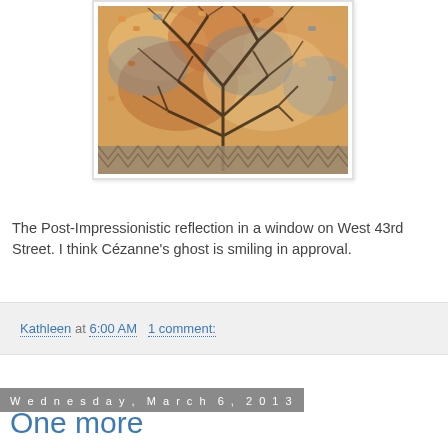[Figure (photo): A framed artwork/photograph showing a colorful Post-Impressionistic reflection of a tree in a window on West 43rd Street, with warm autumn tones of orange, brown, and blue.]
The Post-Impressionistic reflection in a window on West 43rd Street. I think Cézanne's ghost is smiling in approval.
Kathleen at 6:00 AM   1 comment:
Wednesday, March 6, 2013
One more